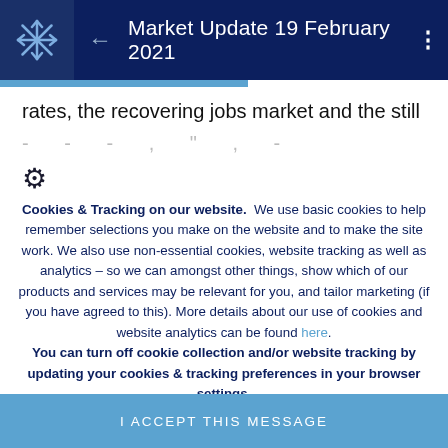Market Update 19 February 2021
rates, the recovering jobs market and the still
[partial/obscured text line]
Cookies & Tracking on our website. We use basic cookies to help remember selections you make on the website and to make the site work. We also use non-essential cookies, website tracking as well as analytics – so we can amongst other things, show which of our products and services may be relevant for you, and tailor marketing (if you have agreed to this). More details about our use of cookies and website analytics can be found here. You can turn off cookie collection and/or website tracking by updating your cookies & tracking preferences in your browser settings.
I ACCEPT THIS MESSAGE